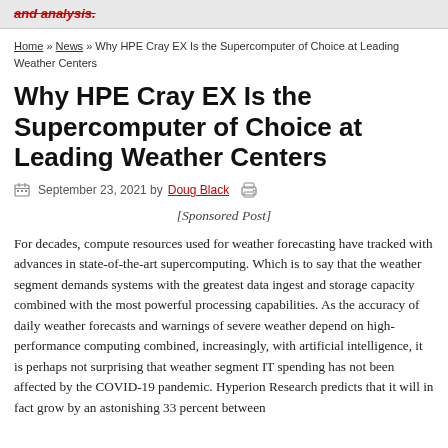and analysis.
Home » News » Why HPE Cray EX Is the Supercomputer of Choice at Leading Weather Centers
Why HPE Cray EX Is the Supercomputer of Choice at Leading Weather Centers
September 23, 2021 by Doug Black
[Sponsored Post]
For decades, compute resources used for weather forecasting have tracked with advances in state-of-the-art supercomputing. Which is to say that the weather segment demands systems with the greatest data ingest and storage capacity combined with the most powerful processing capabilities. As the accuracy of daily weather forecasts and warnings of severe weather depend on high-performance computing combined, increasingly, with artificial intelligence, it is perhaps not surprising that weather segment IT spending has not been affected by the COVID-19 pandemic. Hyperion Research predicts that it will in fact grow by an astonishing 33 percent between